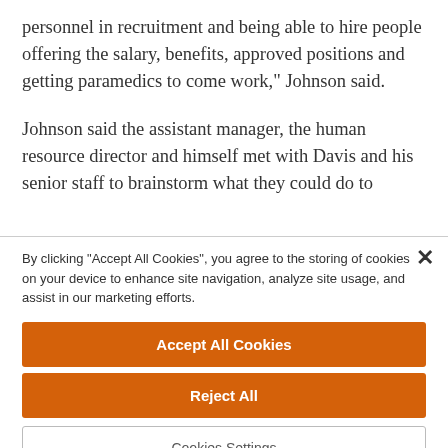personnel in recruitment and being able to hire people offering the salary, benefits, approved positions and getting paramedics to come work," Johnson said.
Johnson said the assistant manager, the human resource director and himself met with Davis and his senior staff to brainstorm what they could do to
By clicking "Accept All Cookies", you agree to the storing of cookies on your device to enhance site navigation, analyze site usage, and assist in our marketing efforts.
Accept All Cookies
Reject All
Cookies Settings